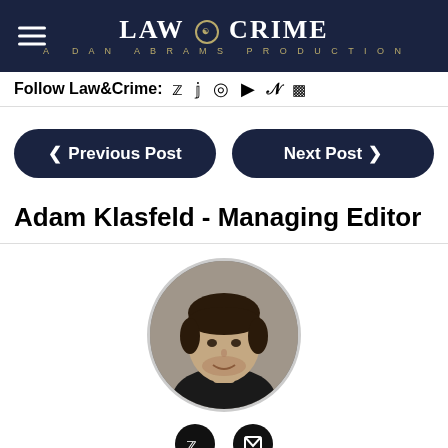LAW & CRIME — A DAN ABRAMS PRODUCTION
Follow Law&Crime:
◄ Previous Post   Next Post ►
Adam Klasfeld - Managing Editor
[Figure (photo): Circular headshot photo of Adam Klasfeld, a young man with dark hair and light stubble, wearing a dark jacket, photographed against a grey background.]